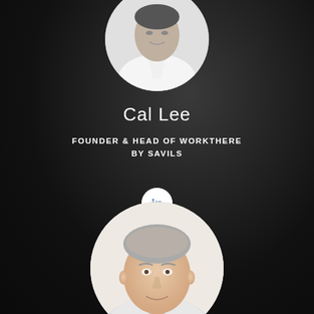[Figure (photo): Black and white circular headshot of Cal Lee, partially cropped at the top of the page]
Cal Lee
FOUNDER & HEAD OF WORKTHERE BY SAVILS
[Figure (logo): LinkedIn logo icon - white circle with blue 'in' text]
[Figure (photo): Color circular headshot of a man with short grey hair, partially cropped at the bottom of the page]